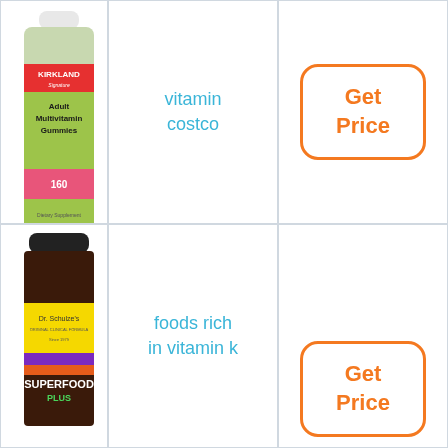[Figure (photo): Kirkland Signature Adult Multivitamin Gummies bottle, 160 gummies, dietary supplement]
vitamin costco
Get Price
[Figure (photo): Dr. Schulze's SuperFood Plus supplement jar with yellow and colorful label]
foods rich in vitamin k
Get Price